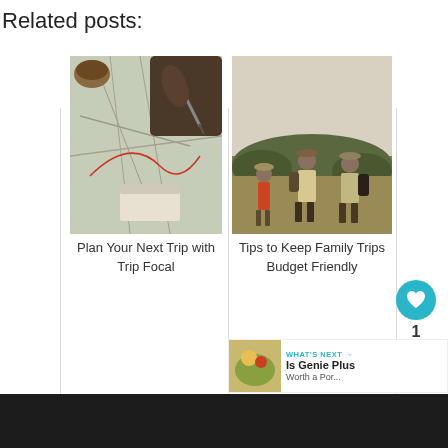Related posts:
[Figure (photo): Overhead view of a person pointing at a map with a pen, with a coffee cup nearby]
Plan Your Next Trip with Trip Focal
[Figure (photo): Family of hikers (adults and children) walking through grassy hillside with backpacks]
Tips to Keep Family Trips Budget Friendly
1
WHAT'S NEXT → Is Genie Plus Worth a Por...